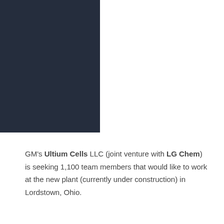BY KIVI
11.05.202
COMMENT
GM’s Ultium Cells LLC (joint venture with LG Chem) is seeking 1,100 team members that would like to work at the new plant (currently under construction) in Lordstown, Ohio.